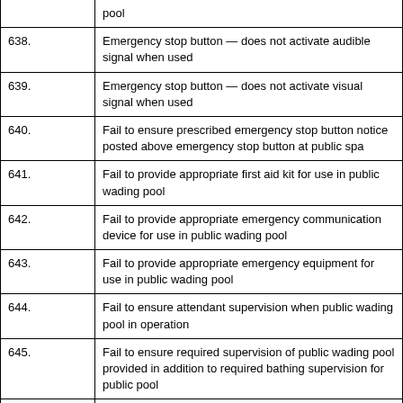| Item # | Description |
| --- | --- |
|  | pool |
| 638. | Emergency stop button — does not activate audible signal when used |
| 639. | Emergency stop button — does not activate visual signal when used |
| 640. | Fail to ensure prescribed emergency stop button notice posted above emergency stop button at public spa |
| 641. | Fail to provide appropriate first aid kit for use in public wading pool |
| 642. | Fail to provide appropriate emergency communication device for use in public wading pool |
| 643. | Fail to provide appropriate emergency equipment for use in public wading pool |
| 644. | Fail to ensure attendant supervision when public wading pool in operation |
| 645. | Fail to ensure required supervision of public wading pool provided in addition to required bathing supervision for public pool |
| 646. | Fail to ensure public spray pad water provided with appropriate filtration approved by M.O.H. or local public health inspector |
| 647. | Fail to ensure public spray pad water provided with appropriate disinfection approved by M.O.H. or local public health inspector |
| 648. | Fail to post clearly visible signage in conspicuous place notifying parents or guardians to supervise children at all times when using public spray |
| 649. | Fail to post clearly visible signage in conspicuous place notifying parents or guardians to supervise children at all times when using public |